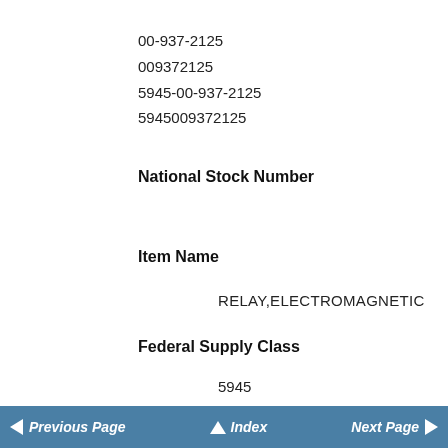00-937-2125
009372125
5945-00-937-2125
5945009372125
National Stock Number
Item Name
RELAY,ELECTROMAGNETIC
Federal Supply Class
5945
Description
A relay which is actuated by the effect of a magnetic field de
Previous Page   Index   Next Page